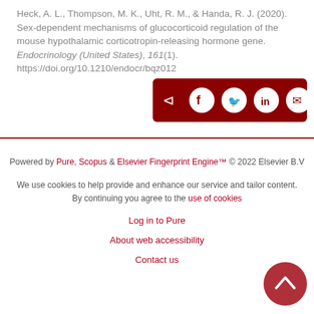Heck, A. L., Thompson, M. K., Uht, R. M., & Handa, R. J. (2020). Sex-dependent mechanisms of glucocorticoid regulation of the mouse hypothalamic corticotropin-releasing hormone gene. Endocrinology (United States), 161(1). https://doi.org/10.1210/endocr/bqz012
Powered by Pure, Scopus & Elsevier Fingerprint Engine™ © 2022 Elsevier B.V
We use cookies to help provide and enhance our service and tailor content. By continuing you agree to the use of cookies
Log in to Pure
About web accessibility
Contact us